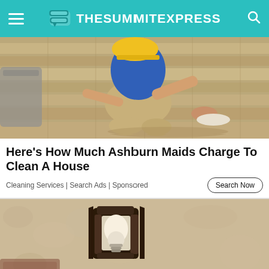TheSummitExpress
[Figure (photo): Person in yellow hat cleaning/scrubbing a hardwood floor with a cloth, kneeling down]
Here's How Much Ashburn Maids Charge To Clean A House
Cleaning Services | Search Ads | Sponsored
[Figure (photo): Close-up of a dark metal outdoor wall lantern/light fixture mounted on a textured stucco wall]